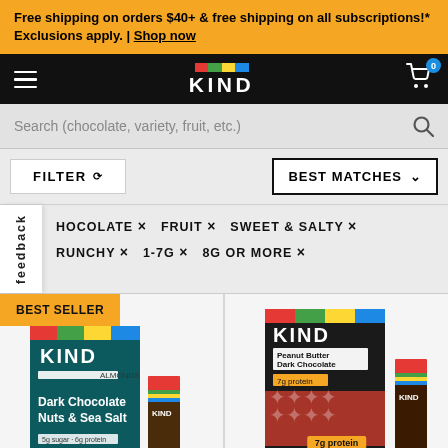Free shipping on orders $40+ & free shipping on all subscriptions!* Exclusions apply. | Shop now
[Figure (logo): KIND snacks logo with colorful bar and white text on black navigation bar]
Search (chocolate, variety, fruit, etc.)
FILTER  BEST MATCHES
CHOCOLATE ×   FRUIT ×   SWEET & SALTY ×
CRUNCHY ×   1-7G ×   8G OR MORE ×
feedback
[Figure (photo): KIND Dark Chocolate Nuts & Sea Salt bar box product with BEST SELLER badge]
[Figure (photo): KIND Peanut Butter Dark Chocolate bar box product]